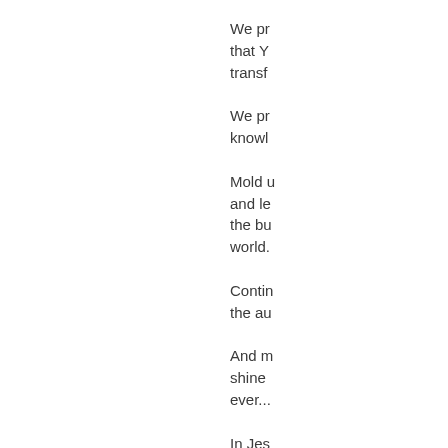We pr... that Y... transf...
We pr... knowl...
Mold u... and le... the bu... world....
Contin... the au...
And m... shine ... ever...
In Jes...
Amen...